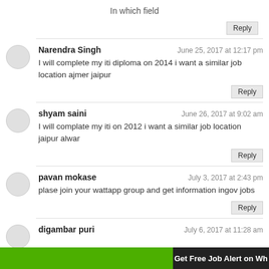In which field
Reply
Reply
Reply
Reply
Get Free Job Alert on Wh